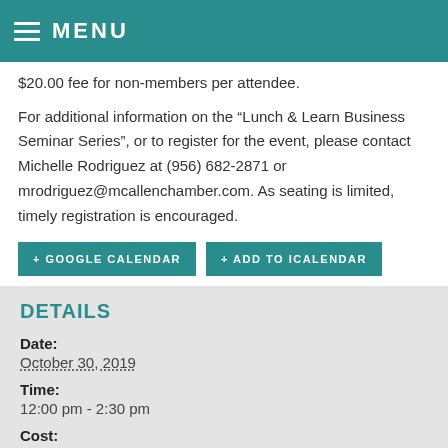MENU
$20.00 fee for non-members per attendee.
For additional information on the “Lunch & Learn Business Seminar Series”, or to register for the event, please contact Michelle Rodriguez at (956) 682-2871 or mrodriguez@mcallenchamber.com. As seating is limited, timely registration is encouraged.
+ GOOGLE CALENDAR
+ ADD TO ICALENDAR
DETAILS
Date:
October 30, 2019
Time:
12:00 pm - 2:30 pm
Cost:
$20